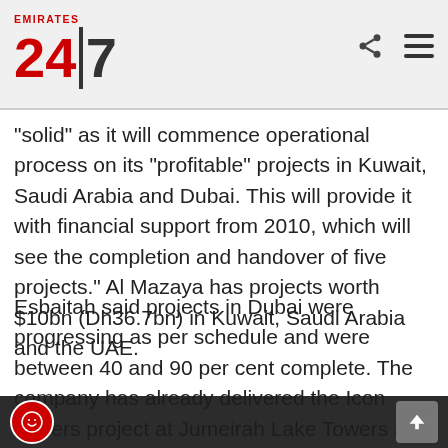[Figure (logo): Emirates 24|7 news website logo with red text and black divider and number 7]
"solid" as it will commence operational process on its "profitable" projects in Kuwait, Saudi Arabia and Dubai. This will provide it with financial support from 2010, which will see the completion and handover of five projects." Al Mazaya has projects worth $10bn (Dh36.7bn) in Kuwait, Saudi Arabia and the UAE.
Esbaitah said projects in Dubai were progressing as per schedule and were between 40 and 90 per cent complete. The company has already delivered the Icon Towers project at Jumeirah Lake Towers and has made progress on its Business Avenue project. The a project and Liwan project in Dubailand are 85